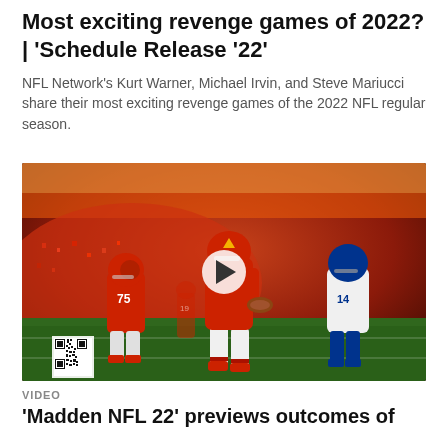Most exciting revenge games of 2022? | 'Schedule Release '22'
NFL Network's Kurt Warner, Michael Irvin, and Steve Mariucci share their most exciting revenge games of the 2022 NFL regular season.
[Figure (photo): Video thumbnail showing Madden NFL video game screenshot of a Kansas City Chiefs player in red uniform running with the football, being chased by a Buffalo Bills player in white and blue uniform, with crowd in background and a QR code in the bottom left corner. A play button overlay is centered on the image.]
VIDEO
'Madden NFL 22' previews outcomes of notable Week 1...